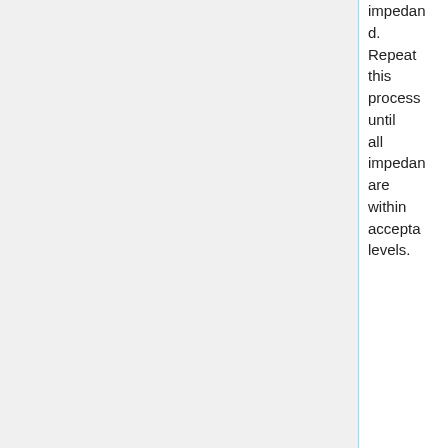impedance matched. Repeat this process until all impedances are within acceptable levels.